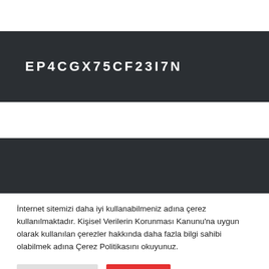EP4CGX75CF23I7N
İnternet sitemizi daha iyi kullanabilmeniz adına çerez kullanılmaktadır. Kişisel Verilerin Korunması Kanunu'na uygun olarak kullanılan çerezler hakkında daha fazla bilgi sahibi olabilmek adına Çerez Politikasını okuyunuz.
Cookie Ayarları
Kabul Et